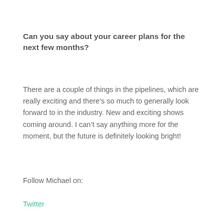Can you say about your career plans for the next few months?
There are a couple of things in the pipelines, which are really exciting and there’s so much to generally look forward to in the industry. New and exciting shows coming around. I can’t say anything more for the moment, but the future is definitely looking bright!
Follow Michael on:
Twitter